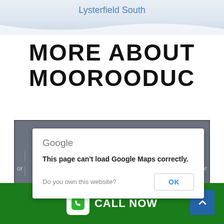Lysterfield South
MORE ABOUT MOOROODUC
[Figure (screenshot): Google Maps embed showing an error dialog: 'This page can't load Google Maps correctly.' with a note 'Do you own this website?' and an OK button. Map background is greyed out with partial map visible on left and right edges.]
CALL NOW